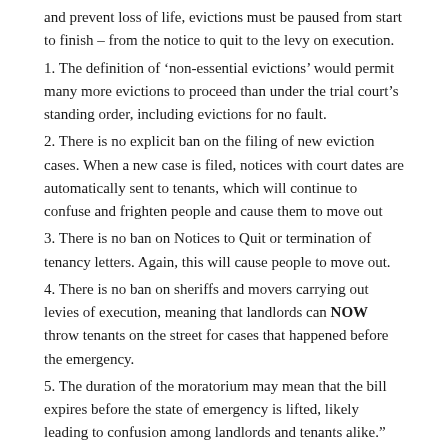and prevent loss of life, evictions must be paused from start to finish – from the notice to quit to the levy on execution.
1. The definition of 'non-essential evictions' would permit many more evictions to proceed than under the trial court's standing order, including evictions for no fault.
2. There is no explicit ban on the filing of new eviction cases. When a new case is filed, notices with court dates are automatically sent to tenants, which will continue to confuse and frighten people and cause them to move out
3. There is no ban on Notices to Quit or termination of tenancy letters. Again, this will cause people to move out.
4. There is no ban on sheriffs and movers carrying out levies of execution, meaning that landlords can NOW throw tenants on the street for cases that happened before the emergency.
5. The duration of the moratorium may mean that the bill expires before the state of emergency is lifted, likely leading to confusion among landlords and tenants alike.”